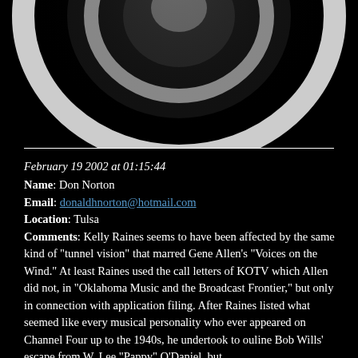[Figure (photo): Partial black and white image of a CBS eye logo or similar circular graphic on black background]
February 19 2002 at 01:15:44
Name: Don Norton
Email: donaldhnorton@hotmail.com
Location: Tulsa
Comments: Kelly Raines seems to have been affected by the same kind of "tunnel vision" that marred Gene Allen's "Voices on the Wind." At least Raines used the call letters of KOTV which Allen did not, in "Oklahoma Music and the Broadcast Frontier," but only in connection with application filing. After Raines listed what seemed like every musical personality who ever appeared on Channel Four up to the 1940s, he undertook to ouline Bob Wills' escape from W. Lee "Pappy" O'Daniel, but